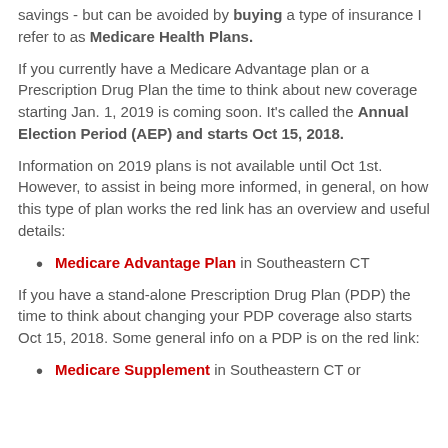savings - but can be avoided by buying a type of insurance I refer to as Medicare Health Plans.
If you currently have a Medicare Advantage plan or a Prescription Drug Plan the time to think about new coverage starting Jan. 1, 2019 is coming soon. It's called the Annual Election Period (AEP) and starts Oct 15, 2018.
Information on 2019 plans is not available until Oct 1st. However, to assist in being more informed, in general, on how this type of plan works the red link has an overview and useful details:
Medicare Advantage Plan in Southeastern CT
If you have a stand-alone Prescription Drug Plan (PDP) the time to think about changing your PDP coverage also starts Oct 15, 2018. Some general info on a PDP is on the red link:
Medicare Supplement in Southeastern CT or